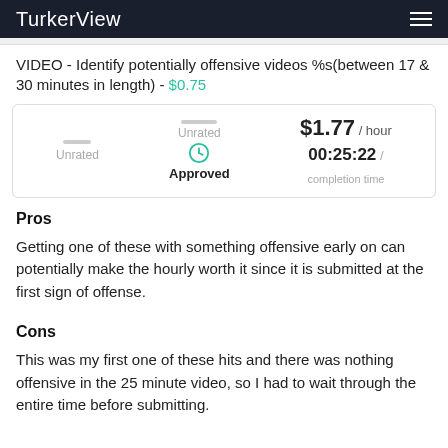TurkerView
VIDEO - Identify potentially offensive videos %s(between 17 & 30 minutes in length) - $0.75
[Figure (infographic): Stats box showing: Unrated (left column with grey bar), Unrated/Approved with clock icon (center column), $1.77/hour and 00:25:22/completion time (right column)]
Pros
Getting one of these with something offensive early on can potentially make the hourly worth it since it is submitted at the first sign of offense.
Cons
This was my first one of these hits and there was nothing offensive in the 25 minute video, so I had to wait through the entire time before submitting.